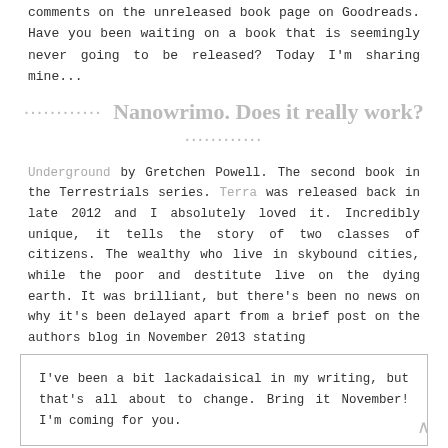comments on the unreleased book page on Goodreads. Have you been waiting on a book that is seemingly never going to be released? Today I'm sharing mine...
Nanowrimo. Does it really work?
Underground by Gretchen Powell. The second book in the Terrestrials series. Terra was released back in late 2012 and I absolutely loved it. Incredibly unique, it tells the story of two classes of citizens. The wealthy who live in skybound cities, while the poor and destitute live on the dying earth. It was brilliant, but there's been no news on why it's been delayed apart from a brief post on the authors blog in November 2013 stating
I've been a bit lackadaisical in my writing, but that's all about to change. Bring it November! I'm coming for you.
November of 2013 brought it, but sadly a year later the book still isn't out.
Two Books and a Baby